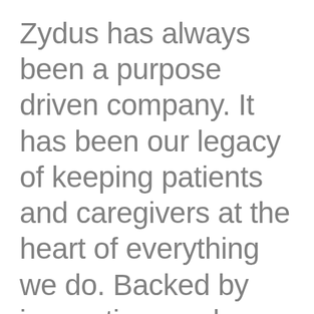Zydus has always been a purpose driven company. It has been our legacy of keeping patients and caregivers at the heart of everything we do. Backed by innovation, we have been exploring novel approaches in healthcare. As we continue to make a meaningful difference in the lives of patients, we hope to empower them and help them lead healthier and...